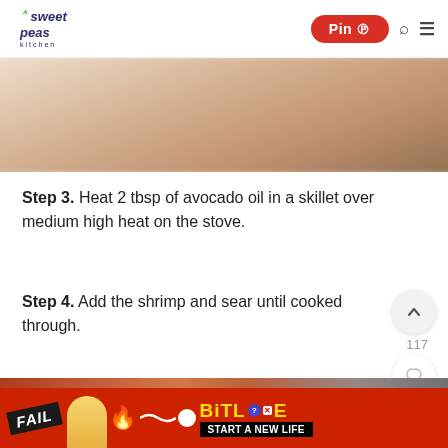sweet peas kitchen | Pin | Search | Menu
[Figure (photo): Blurred close-up photo of food item, beige/brown tones]
Step 3. Heat 2 tbsp of avocado oil in a skillet over medium high heat on the stove.
Step 4. Add the shrimp and sear until cooked through.
[Figure (photo): Shrimp cooking in a skillet with oil and seasoning]
[Figure (screenshot): BitLife advertisement banner: FAIL text, animated character, fire flames, BitLife logo, START A NEW LIFE button]